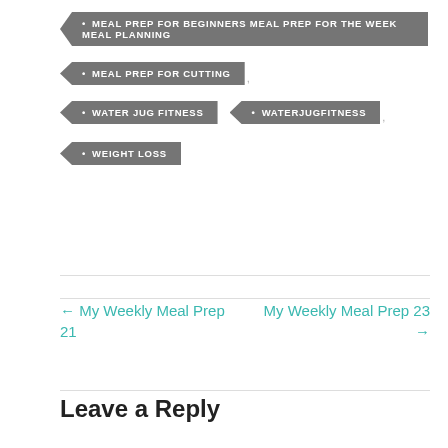MEAL PREP FOR BEGINNERS MEAL PREP FOR THE WEEK MEAL PLANNING
MEAL PREP FOR CUTTING
WATER JUG FITNESS
WATERJUGFITNESS
WEIGHT LOSS
← My Weekly Meal Prep 21
My Weekly Meal Prep 23 →
Leave a Reply